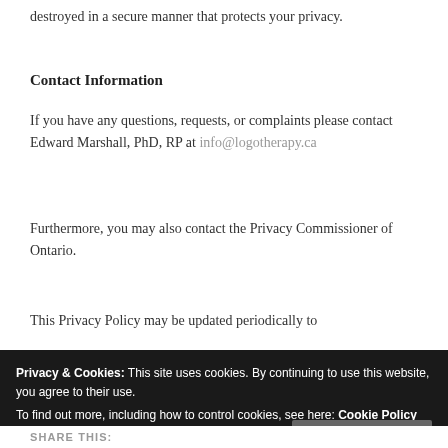destroyed in a secure manner that protects your privacy.
Contact Information
If you have any questions, requests, or complaints please contact Edward Marshall, PhD, RP at info@logotherapy.ca
Furthermore, you may also contact the Privacy Commissioner of Ontario.
This Privacy Policy may be updated periodically to
Privacy & Cookies: This site uses cookies. By continuing to use this website, you agree to their use.
To find out more, including how to control cookies, see here: Cookie Policy
SHARE THIS: